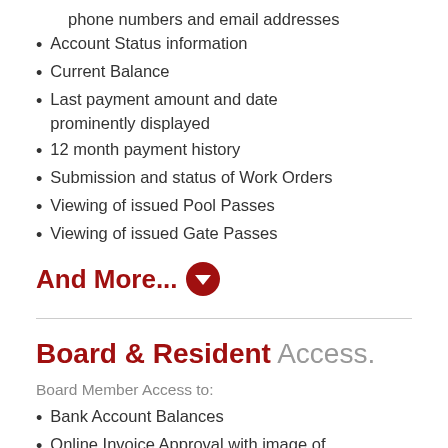phone numbers and email addresses
Account Status information
Current Balance
Last payment amount and date prominently displayed
12 month payment history
Submission and status of Work Orders
Viewing of issued Pool Passes
Viewing of issued Gate Passes
And More... ❯
Board & Resident Access.
Board Member Access to:
Bank Account Balances
Online Invoice Approval with image of